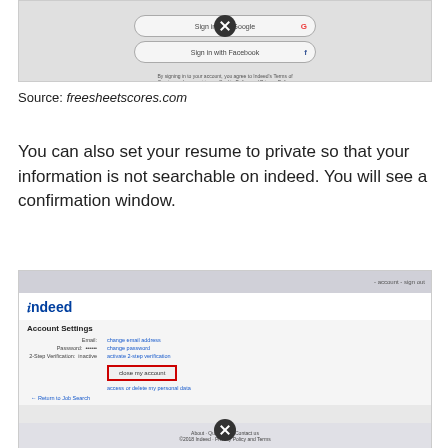[Figure (screenshot): Top portion of Indeed sign-in screenshot showing Sign in with Google and Sign in with Facebook buttons, with a close (X) button overlay and terms text below]
Source: freesheetscores.com
You can also set your resume to private so that your information is not searchable on indeed. You will see a confirmation window.
[Figure (screenshot): Indeed Account Settings page screenshot showing account settings with Email, Password, 2-Step Verification fields, a close my account button highlighted in red, access or delete my personal data link, Return to Job Search link, and footer with About/Questions/Contact us links, with a close (X) button overlay]